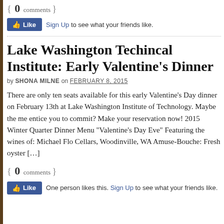{ 0 comments }
[Figure (other): Facebook Like button with 'Sign Up to see what your friends like.']
Lake Washington Techincal Institute: Early Valentine's Dinner
by SHONA MILNE on FEBRUARY 8, 2015
There are only ten seats available for this early Valentine's Day dinner on February 13th at Lake Washington Institute of Technology. Maybe the me entice you to commit? Make your reservation now! 2015 Winter Quarter Dinner Menu "Valentine's Day Eve" Featuring the wines of: Michael Flo Cellars, Woodinville, WA Amuse-Bouche: Fresh oyster […]
{ 0 comments }
[Figure (other): Facebook Like button with 'One person likes this. Sign Up to see what your friends like.']